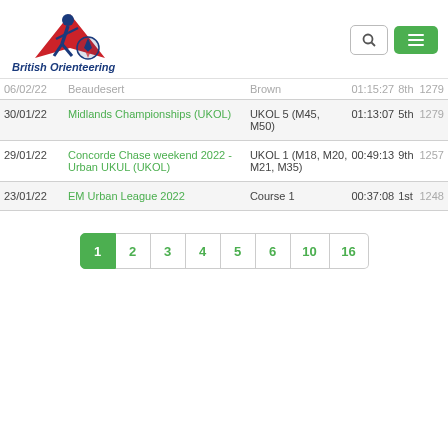British Orienteering
| Date | Event | Course | Time | Position | Points |
| --- | --- | --- | --- | --- | --- |
| 06/02/22 | Beaudesert | Brown | 01:15:27 | 8th | 1279 |
| 30/01/22 | Midlands Championships (UKOL) | UKOL 5 (M45, M50) | 01:13:07 | 5th | 1279 |
| 29/01/22 | Concorde Chase weekend 2022 - Urban UKUL (UKOL) | UKOL 1 (M18, M20, M21, M35) | 00:49:13 | 9th | 1257 |
| 23/01/22 | EM Urban League 2022 | Course 1 | 00:37:08 | 1st | 1248 |
Pagination: 1 2 3 4 5 6 10 16